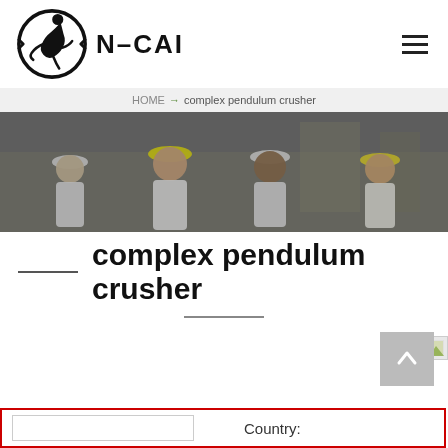[Figure (logo): N-CAI company logo with stylized figure inside an oval, and bold text N-CAI]
HOME > complex pendulum crusher
[Figure (photo): Group of construction workers wearing hard hats, smiling, industrial background]
complex pendulum crusher
[Figure (other): Small thumbnail image partially visible at top right of content area]
[Figure (other): Scroll-to-top button with upward arrow, gray background]
Country: